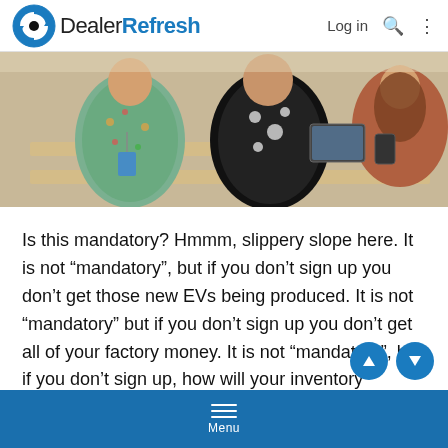DealerRefresh — Log in
[Figure (photo): People seated at tables in a conference or classroom setting, viewed from behind, with laptops and tablets on the desks.]
Is this mandatory? Hmmm, slippery slope here. It is not “mandatory”, but if you don’t sign up you don’t get those new EVs being produced. It is not “mandatory” but if you don’t sign up you don’t get all of your factory money. It is not “mandatory”, but if you don’t sign up, how will your inventory allocation be?
Menu